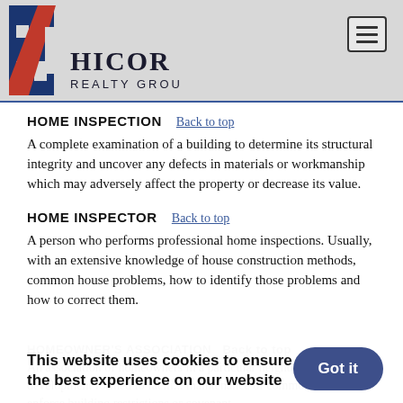HICOR REALTY GROUP
HOME INSPECTION
A complete examination of a building to determine its structural integrity and uncover any defects in materials or workmanship which may adversely affect the property or decrease its value.
HOME INSPECTOR
A person who performs professional home inspections. Usually, with an extensive knowledge of house construction methods, common house problems, how to identify those problems and how to correct them.
This website uses cookies to ensure you get the best experience on our website